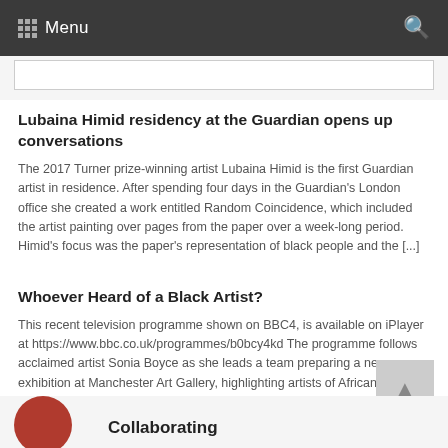Menu
Lubaina Himid residency at the Guardian opens up conversations
The 2017 Turner prize-winning artist Lubaina Himid is the first Guardian artist in residence. After spending four days in the Guardian's London office she created a work entitled Random Coincidence, which included the artist painting over pages from the paper over a week-long period. Himid's focus was the paper's representation of black people and the [...]
Whoever Heard of a Black Artist?
This recent television programme shown on BBC4, is available on iPlayer at https://www.bbc.co.uk/programmes/b0bcy4kd The programme follows acclaimed artist Sonia Boyce as she leads a team preparing a new exhibition at Manchester Art Gallery, highlighting artists of African and Asian descent who have helped to shape the history of British art. Lubaina Himid is featured.
Collaborating